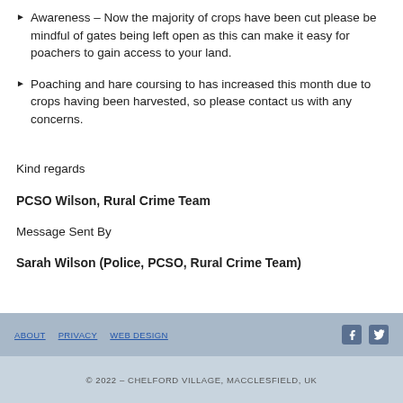Awareness – Now the majority of crops have been cut please be mindful of gates being left open as this can make it easy for poachers to gain access to your land.
Poaching and hare coursing to has increased this month due to crops having been harvested, so please contact us with any concerns.
Kind regards
PCSO Wilson, Rural Crime Team
Message Sent By
Sarah Wilson (Police, PCSO, Rural Crime Team)
ABOUT   PRIVACY   WEB DESIGN   © 2022 – CHELFORD VILLAGE, MACCLESFIELD, UK